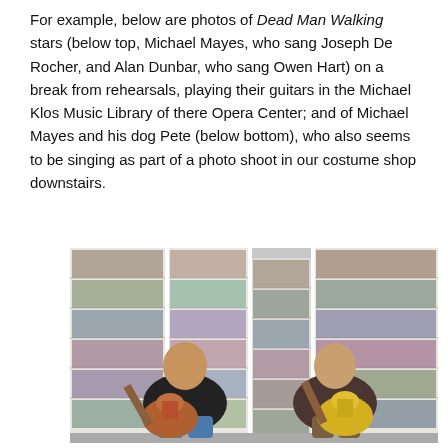For example, below are photos of Dead Man Walking stars (below top, Michael Mayes, who sang Joseph De Rocher, and Alan Dunbar, who sang Owen Hart) on a break from rehearsals, playing their guitars in the Michael Klos Music Library of there Opera Center; and of Michael Mayes and his dog Pete (below bottom), who also seems to be singing as part of a photo shoot in our costume shop downstairs.
[Figure (photo): Two men sitting in chairs playing acoustic guitars in a room lined with tall white bookshelves filled with music CDs and recordings. The man on the left wears a black t-shirt and plays a brown acoustic guitar. The man on the right wears a dark jacket and plays a yellow acoustic guitar.]